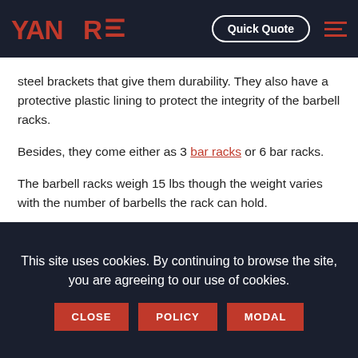YANRE | Quick Quote | [menu]
steel brackets that give them durability. They also have a protective plastic lining to protect the integrity of the barbell racks.
Besides, they come either as 3 bar racks or 6 bar racks.
The barbell racks weigh 15 lbs though the weight varies with the number of barbells the rack can hold.
The barbell racks are available at prices starting at $52.50. Though, the racks having a plastic lining go for 98.50
This site uses cookies. By continuing to browse the site, you are agreeing to our use of cookies.
CLOSE
POLICY
MODAL